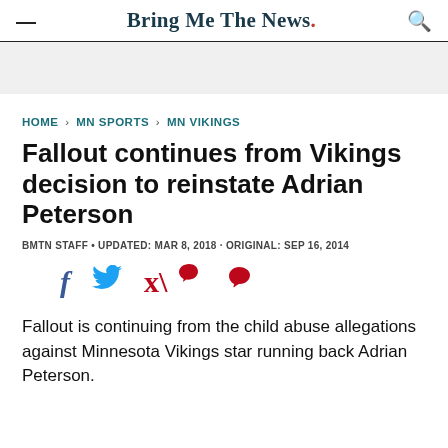Bring Me The News.
HOME > MN SPORTS > MN VIKINGS
Fallout continues from Vikings decision to reinstate Adrian Peterson
BMTN STAFF • UPDATED: MAR 8, 2018 · ORIGINAL: SEP 16, 2014
[Figure (infographic): Social share icons: Facebook (f), Twitter (bird), Pinterest (p)]
Fallout is continuing from the child abuse allegations against Minnesota Vikings star running back Adrian Peterson.